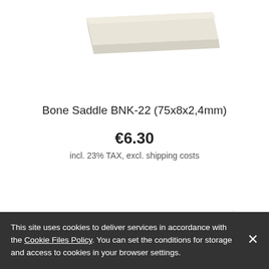[Figure (photo): A bone saddle product (BNK-22) shown at an angle — a flat, elongated off-white/cream colored piece with rounded corners, photographed against white background.]
Bone Saddle BNK-22 (75x8x2,4mm)
€6.30
incl. 23% TAX, excl. shipping costs
Add to cart
This site uses cookies to deliver services in accordance with the Cookie Files Policy. You can set the conditions for storage and access to cookies in your browser settings.